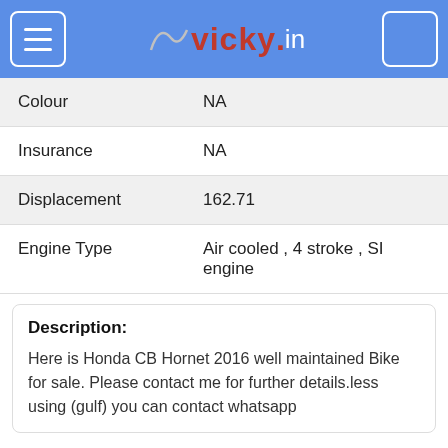vicky.in
| Property | Value |
| --- | --- |
| Colour | NA |
| Insurance | NA |
| Displacement | 162.71 |
| Engine Type | Air cooled , 4 stroke , SI engine |
Description:
Here is Honda CB Hornet 2016 well maintained Bike for sale. Please contact me for further details.less using (gulf) you can contact whatsapp
Additional Details about the Bike